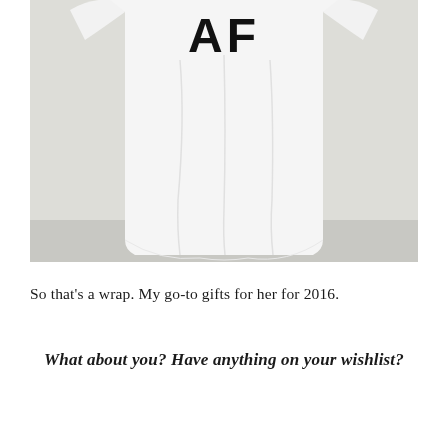[Figure (photo): A white t-shirt with bold black text 'AF' printed near the top, photographed hanging against a light gray/white background. The shirt is displayed from approximately the shoulders down, showing the body of the shirt with natural draping folds.]
So that's a wrap. My go-to gifts for her for 2016.
What about you? Have anything on your wishlist?